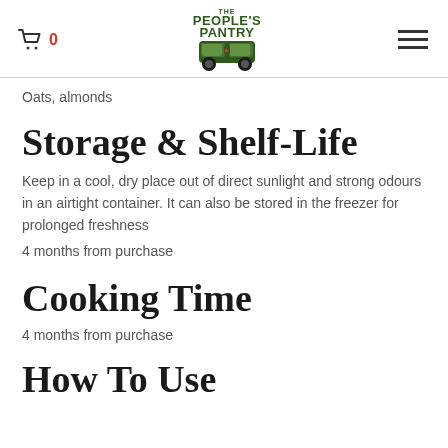The People's Pantry — cart: 0, hamburger menu
Oats, almonds
Storage & Shelf-Life
Keep in a cool, dry place out of direct sunlight and strong odours in an airtight container. It can also be stored in the freezer for prolonged freshness
4 months from purchase
Cooking Time
4 months from purchase
How To Use